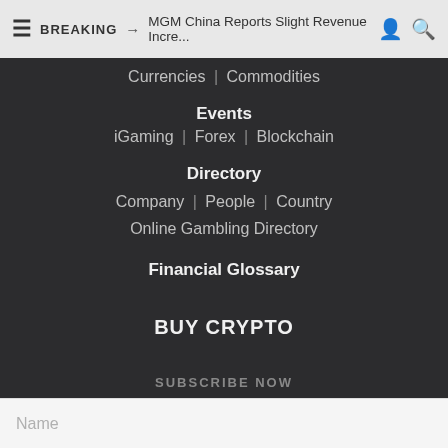BREAKING → MGM China Reports Slight Revenue Incre...
Currencies | Commodities
Events
iGaming | Forex | Blockchain
Directory
Company | People | Country
Online Gambling Directory
Financial Glossary
BUY CRYPTO
SUBSCRIBE NOW
Get the latest Markets, Crypto, iGaming news from FORTUNEZ.
Name